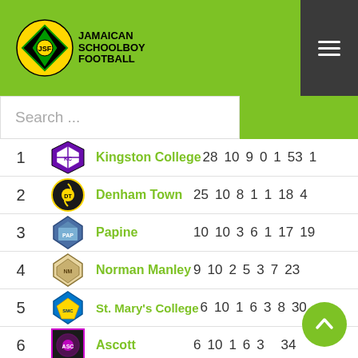Jamaican Schoolboy Football
| # | Team | Pts | P | W | D | L | F | A |
| --- | --- | --- | --- | --- | --- | --- | --- | --- |
| 1 | Kingston College | 28 | 10 | 9 | 0 | 1 | 53 | 1 |
| 2 | Denham Town | 25 | 10 | 8 | 1 | 1 | 18 | 4 |
| 3 | Papine | 10 | 10 | 3 | 6 | 1 | 17 | 19 |
| 4 | Norman Manley | 9 | 10 | 2 | 5 | 3 | 7 | 23 |
| 5 | St. Mary's College | 6 | 10 | 1 | 6 | 3 | 8 | 30 |
| 6 | Ascott | 6 | 10 | 1 | 6 | 3 |  | 34 |